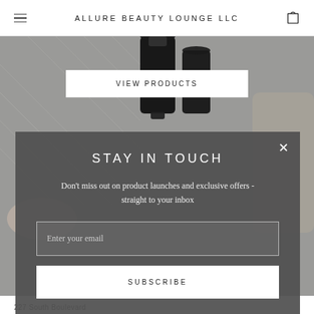ALLURE BEAUTY LOUNGE LLC
[Figure (screenshot): Hero background image showing beauty products including dark cylindrical bottles on a light patterned background]
VIEW PRODUCTS
STAY IN TOUCH
Don't miss out on product launches and exclusive offers - straight to your inbox
Enter your email
SUBSCRIBE
227 South Boulevard